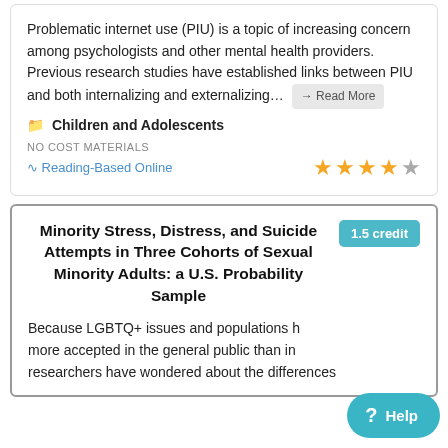Problematic internet use (PIU) is a topic of increasing concern among psychologists and other mental health providers. Previous research studies have established links between PIU and both internalizing and externalizing… → Read More
Children and Adolescents
NO COST MATERIALS
Reading-Based Online
Minority Stress, Distress, and Suicide Attempts in Three Cohorts of Sexual Minority Adults: a U.S. Probability Sample
1.5 credit
Because LGBTQ+ issues and populations have become more accepted in the general public than in the past, researchers have wondered about the differences